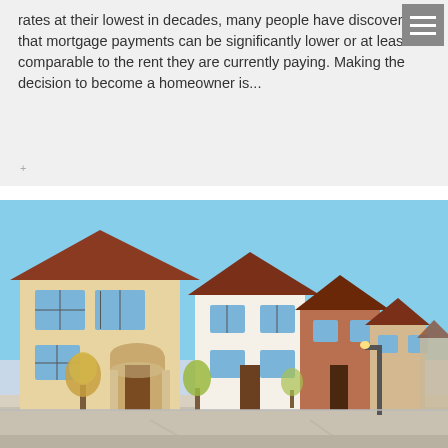rates at their lowest in decades, many people have discovered that mortgage payments can be significantly lower or at least comparable to the rent they are currently paying. Making the decision to become a homeowner is...
[Figure (photo): Street view of a row of two-story suburban homes with stucco/adobe style architecture, terracotta roof tiles, arched doorways, small trees in front yards, blue sky background, street in foreground.]